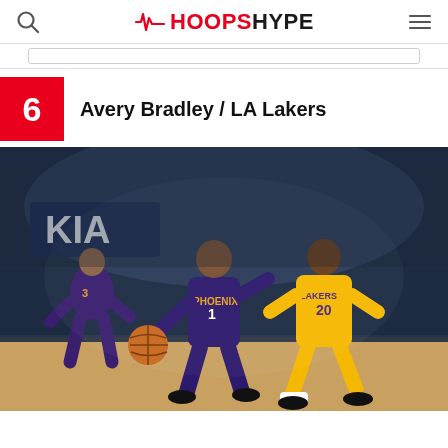HOOPSHYPE
6  Avery Bradley / LA Lakers
[Figure (photo): Basketball game photo showing Phoenix Suns player #1 dribbling in purple uniform with PHOENIX on jersey, being guarded by LA Lakers player #20 Avery Bradley in yellow uniform. Another Suns player #3 visible in background. Arena crowd visible behind them. KIA logo visible on court/backdrop.]
Avery Bradley / LA Lakers